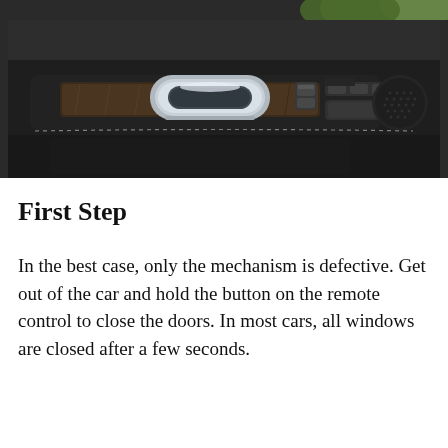[Figure (photo): Interior car door panel showing a chrome door handle, window controls, seat memory buttons, and a speaker grille with dark upholstery and wood trim inlay.]
First Step
In the best case, only the mechanism is defective. Get out of the car and hold the button on the remote control to close the doors. In most cars, all windows are closed after a few seconds.